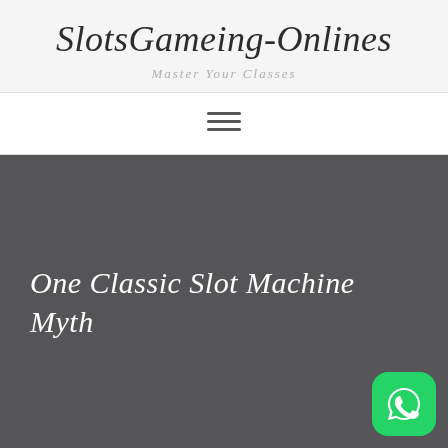SlotsGameing-Onlines
Master Your Classes
[Figure (other): Hamburger menu icon with three horizontal lines]
One Classic Slot Machine Myth
[Figure (logo): WhatsApp icon button (green rounded square with white phone/chat logo)]